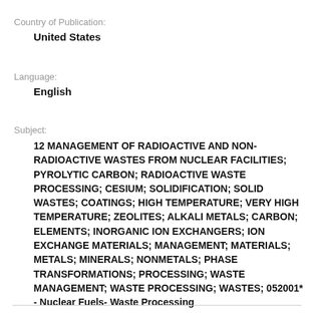Country of Publication:
United States
Language:
English
Subject:
12 MANAGEMENT OF RADIOACTIVE AND NON-RADIOACTIVE WASTES FROM NUCLEAR FACILITIES; PYROLYTIC CARBON; RADIOACTIVE WASTE PROCESSING; CESIUM; SOLIDIFICATION; SOLID WASTES; COATINGS; HIGH TEMPERATURE; VERY HIGH TEMPERATURE; ZEOLITES; ALKALI METALS; CARBON; ELEMENTS; INORGANIC ION EXCHANGERS; ION EXCHANGE MATERIALS; MANAGEMENT; MATERIALS; METALS; MINERALS; NONMETALS; PHASE TRANSFORMATIONS; PROCESSING; WASTE MANAGEMENT; WASTE PROCESSING; WASTES; 052001* - Nuclear Fuels- Waste Processing